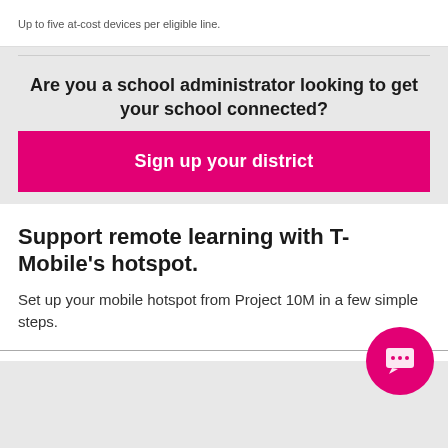Up to five at-cost devices per eligible line.
Are you a school administrator looking to get your school connected?
Sign up your district
Support remote learning with T-Mobile’s hotspot.
Set up your mobile hotspot from Project 10M in a few simple steps.